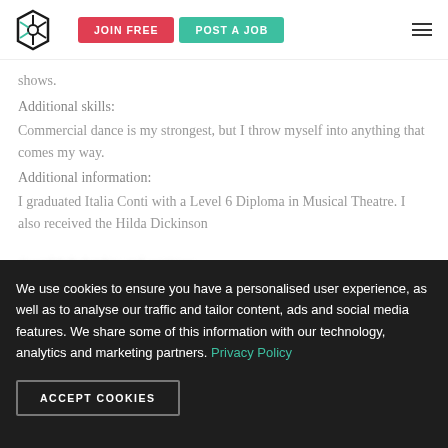JOIN FREE | POST A JOB
shows.
Additional skills:
Commercial dance is my strongest, but I throw myself into anything that comes my way.
Additional information:
I graduated Italia Conti with a Level 6 Diploma in Musical Theatre. I also received the Hilda Dickinson Award Scholarship and continue.
We use cookies to ensure you have a personalised user experience, as well as to analyse our traffic and tailor content, ads and social media features. We share some of this information with our technology, analytics and marketing partners. Privacy Policy
ACCEPT COOKIES